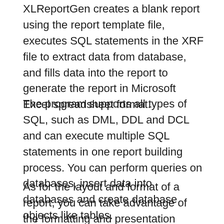XLReportGen creates a blank report using the report template file, executes SQL statements in the XRF file to extract data from database, and fills data into the report to generate the report in Microsoft Excel spreadsheet format.
The program supports all types of SQL, such as DML, DDL and DCL and can execute multiple SQL statements in one report building process. You can perform queries on databases, insert data into databases and create database objects like tables.
As for the layout and format of a report, you can take advantage of the formatting and presentation capabilities of Microsoft Excel, including cell formatting, formulas, filtering, sorting, drawing, pictures, charts, multiple sheets, page setup, headers